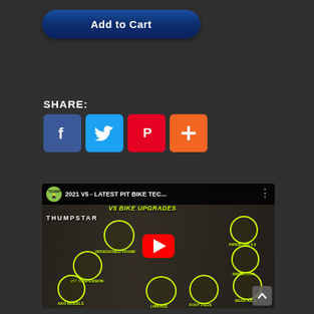[Figure (other): Add to Cart button — dark blue rounded rectangle with white bold text]
SHARE:
[Figure (other): Social share icons: Facebook (blue), Twitter (light blue), Pinterest (red), Plus/add (orange)]
[Figure (other): YouTube video thumbnail showing a 2021 V5 Thumpstar pit bike with feature callouts: Redesigned Frame, V5T Suspension, AKO Wheels, Linkage, Foot Pegs, Rear Axle, Swingarm, Pipebomb 2.0. Red YouTube play button in center. Title bar reads '2021 V5 - LATEST PIT BIKE TEC...' with V5 BIKE UPGRADES overlay.]